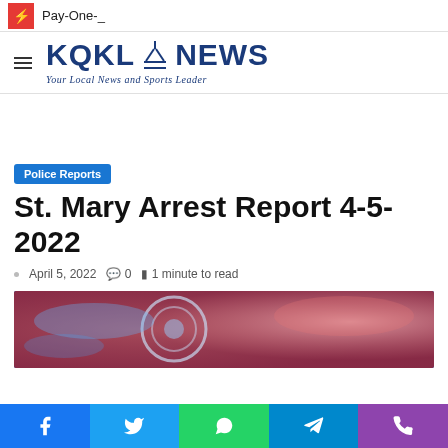Pay-One-_
[Figure (logo): KQKI NEWS logo with tagline 'Your Local News and Sports Leader']
Police Reports
St. Mary Arrest Report 4-5-2022
April 5, 2022  0  1 minute to read
[Figure (photo): Blurred police lights photo showing blue and red lights with circular badge element]